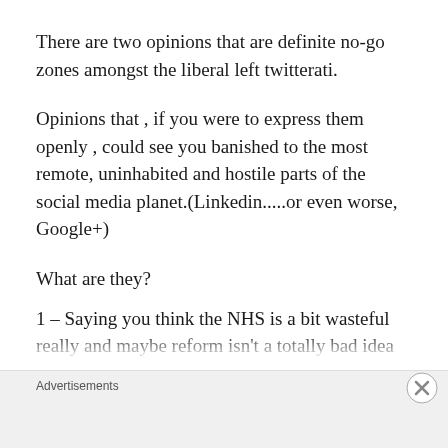There are two opinions that are definite no-go zones amongst the liberal left twitterati.
Opinions that , if you were to express them openly , could see you banished to the most remote, uninhabited and hostile parts of the social media planet.(Linkedin.....or even worse, Google+)
What are they?
1 – Saying you think the NHS is a bit wasteful really and maybe reform isn't a totally bad idea
Advertisements